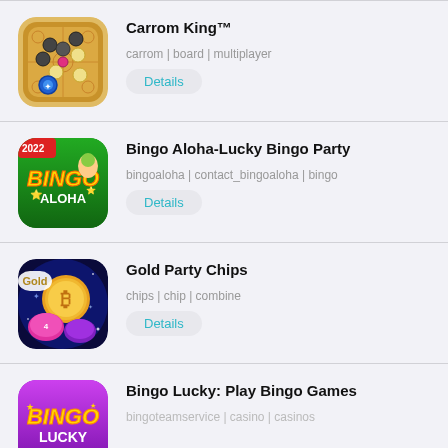[Figure (illustration): Carrom King app icon showing carrom board with pieces]
Carrom King™
carrom | board | multiplayer
Details
[Figure (illustration): Bingo Aloha app icon with green background, BINGO ALOHA text and 2022 label]
Bingo Aloha-Lucky Bingo Party
bingoaloha | contact_bingoaloha | bingo
Details
[Figure (illustration): Gold Party Chips app icon with Bitcoin coin and colorful chips on blue background]
Gold Party Chips
chips | chip | combine
Details
[Figure (illustration): Bingo Lucky app icon with purple background and BINGO LUCKY text]
Bingo Lucky: Play Bingo Games
bingoteamservice | casino | casinos